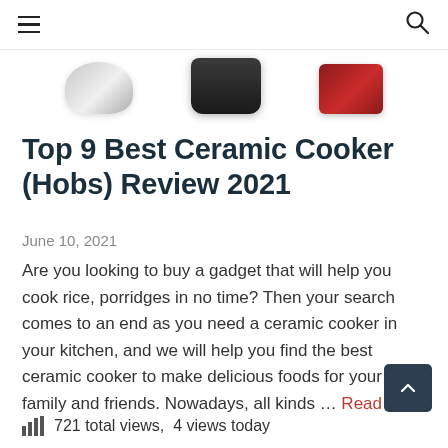≡ [hamburger menu] [search icon]
[Figure (photo): Three ceramic cooker/hob product images partially visible at the top: a silver one on the left, a black one in the center, and a red one on the right]
Top 9 Best Ceramic Cooker (Hobs) Review 2021
June 10, 2021
Are you looking to buy a gadget that will help you cook rice, porridges in no time? Then your search comes to an end as you need a ceramic cooker in your kitchen, and we will help you find the best ceramic cooker to make delicious foods for your family and friends. Nowadays, all kinds … Read more
721 total views,  4 views today